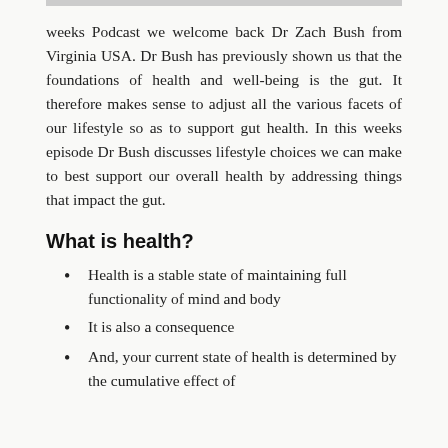[Figure (photo): Partial image of Dr Zach Bush, cropped at top of page]
weeks Podcast we welcome back Dr Zach Bush from Virginia USA. Dr Bush has previously shown us that the foundations of health and well-being is the gut. It therefore makes sense to adjust all the various facets of our lifestyle so as to support gut health. In this weeks episode Dr Bush discusses lifestyle choices we can make to best support our overall health by addressing things that impact the gut.
What is health?
Health is a stable state of maintaining full functionality of mind and body
It is also a consequence
And, your current state of health is determined by the cumulative effect of